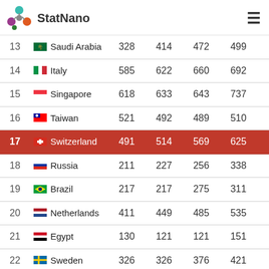StatNano
| # | Country | Col1 | Col2 | Col3 | Col4 |
| --- | --- | --- | --- | --- | --- |
| 13 | Saudi Arabia | 328 | 414 | 472 | 499 |
| 14 | Italy | 585 | 622 | 660 | 692 |
| 15 | Singapore | 618 | 633 | 643 | 737 |
| 16 | Taiwan | 521 | 492 | 489 | 510 |
| 17 | Switzerland | 491 | 514 | 569 | 625 |
| 18 | Russia | 211 | 227 | 256 | 338 |
| 19 | Brazil | 217 | 217 | 275 | 311 |
| 20 | Netherlands | 411 | 449 | 485 | 535 |
| 21 | Egypt | 130 | 121 | 121 | 151 |
| 22 | Sweden | 326 | 326 | 376 | 421 |